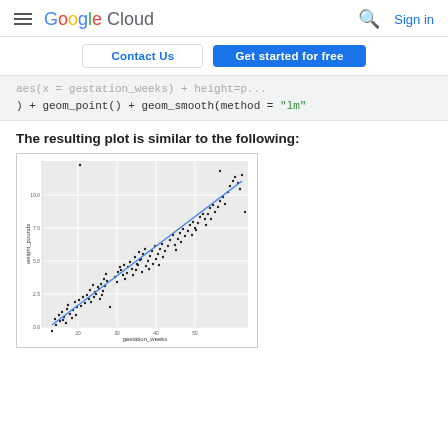Google Cloud  Sign in
Contact Us   Get started for free
) + geom_point() + geom_smooth(method = "lm"
The resulting plot is similar to the following:
[Figure (scatter-plot): Scatter plot with a linear regression (lm) trend line. X-axis labeled 'gestation_weeks', y-axis labeled 'weight_pounds'. Data points are clustered in an upward-trending cloud with a blue linear fit line.]